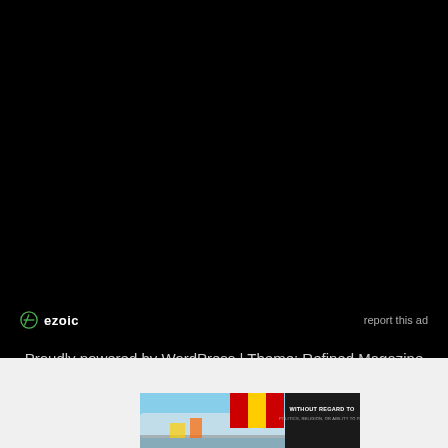[Figure (other): Black background section with Ezoic logo and 'report this ad' link]
Proudly powered by WordPress | Theme: Refined Magazine by Candid Themes.
[Figure (photo): Advertisement banner showing an airplane being loaded with cargo, with an overlay text box reading 'WITHOUT REGARD TO POLITICS, RELIGION, OR ABILITY TO PAY']